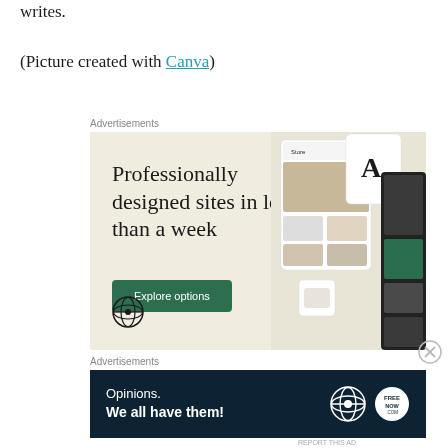writes.
(Picture created with Canva)
Advertisements
[Figure (illustration): WordPress advertisement: 'Professionally designed sites in less than a week' with an Explore options button, WordPress logo, and mock website screenshots on a beige background.]
Advertisements
[Figure (illustration): WordPress banner ad: 'Opinions. We all have them!' on dark navy background with WordPress and another circular logo.]